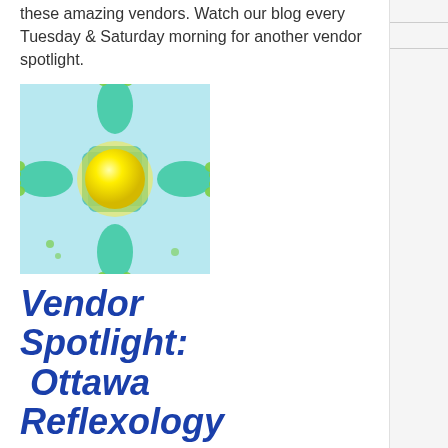these amazing vendors. Watch our blog every Tuesday & Saturday morning for another vendor spotlight.
[Figure (logo): Ottawa Reflexology logo: green and teal footprint shapes arranged in a cross/star pattern around a bright yellow sun on a light blue background.]
Vendor Spotlight: Ottawa Reflexology
Tell us about your